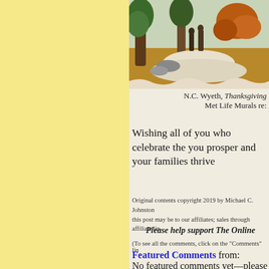[Figure (illustration): Painting by N.C. Wyeth showing a Thanksgiving scene with figures among trees in an autumn landscape]
N.C. Wyeth, Thanksgiving
Met Life Murals re:
Wishing all of you who celebrate the you prosper and your families thrive
Original contents copyright 2019 by Michael C. Johnston this post may be to our affiliates; sales through affiliate lin
Please help support The Online
(To see all the comments, click on the "Comments" lin
Featured Comments from:
No featured comments yet—please c